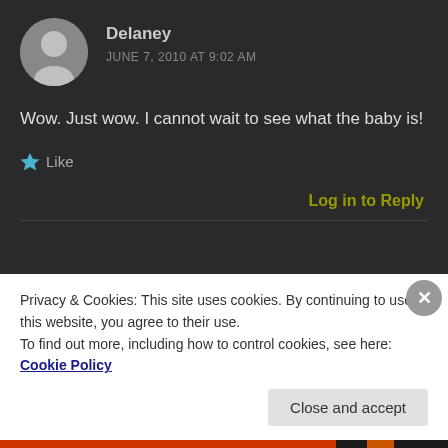[Figure (illustration): Gray circular avatar with silhouette of a person]
Delaney
JUNE 7, 2010 AT 9:02 AM
Wow. Just wow. I cannot wait to see what the baby is!
Like
Log in to Reply
Privacy & Cookies: This site uses cookies. By continuing to use this website, you agree to their use.
To find out more, including how to control cookies, see here: Cookie Policy
Close and accept